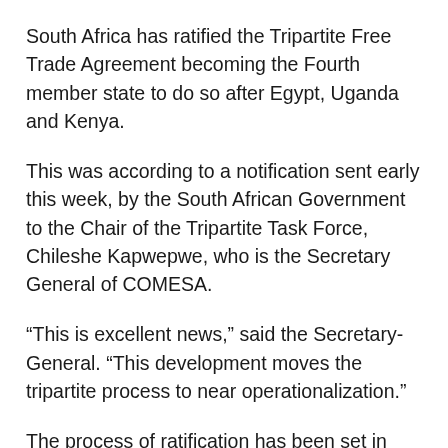South Africa has ratified the Tripartite Free Trade Agreement becoming the Fourth member state to do so after Egypt, Uganda and Kenya.
This was according to a notification sent early this week, by the South African Government to the Chair of the Tripartite Task Force, Chileshe Kapwepwe, who is the Secretary General of COMESA.
“This is excellent news,” said the Secretary-General. “This development moves the tripartite process to near operationalization.”
The process of ratification has been set in motion in a number of member states and it is expected that this target will be reached by end of April 2019, which is the deadline that the